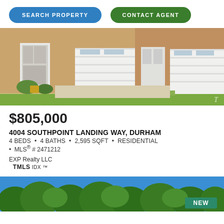SEARCH PROPERTY
CONTACT AGENT
[Figure (photo): Exterior photo of brick townhome with white garage doors and front entrance with decorative wreath]
$805,000
4004 SOUTHPOINT LANDING WAY, DURHAM
4 BEDS • 4 BATHS • 2,595 SQFT • RESIDENTIAL
• MLS® # 2471212
EXP Realty LLC
TMLS IDX ™
[Figure (photo): Aerial or wide-angle photo of green pine trees against blue sky, with NEW badge in bottom right corner]